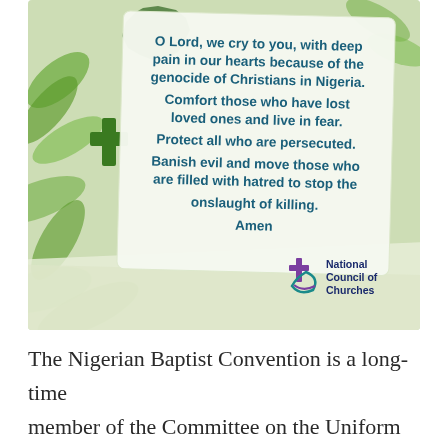[Figure (infographic): A prayer card image with green leaves and cross background, featuring a white card with a prayer text in dark teal bold font, and the National Council of Churches logo in the bottom right.]
The Nigerian Baptist Convention is a long-time member of the Committee on the Uniform